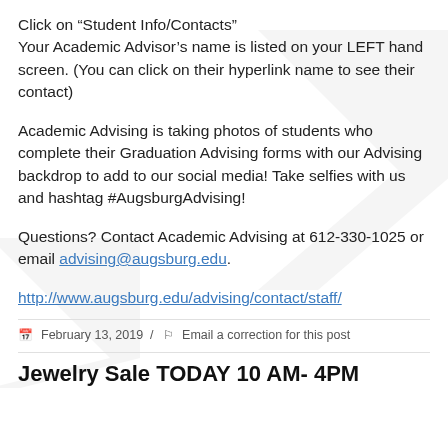Click on “Student Info/Contacts” Your Academic Advisor’s name is listed on your LEFT hand screen. (You can click on their hyperlink name to see their contact)
Academic Advising is taking photos of students who complete their Graduation Advising forms with our Advising backdrop to add to our social media! Take selfies with us and hashtag #AugsburgAdvising!
Questions? Contact Academic Advising at 612-330-1025 or email advising@augsburg.edu.
http://www.augsburg.edu/advising/contact/staff/
February 13, 2019 / Email a correction for this post
Jewelry Sale TODAY 10 AM- 4PM